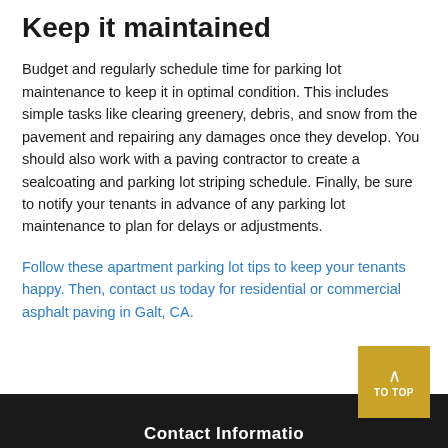Keep it maintained
Budget and regularly schedule time for parking lot maintenance to keep it in optimal condition. This includes simple tasks like clearing greenery, debris, and snow from the pavement and repairing any damages once they develop. You should also work with a paving contractor to create a sealcoating and parking lot striping schedule. Finally, be sure to notify your tenants in advance of any parking lot maintenance to plan for delays or adjustments.
Follow these apartment parking lot tips to keep your tenants happy. Then, contact us today for residential or commercial asphalt paving in Galt, CA.
Contact Information